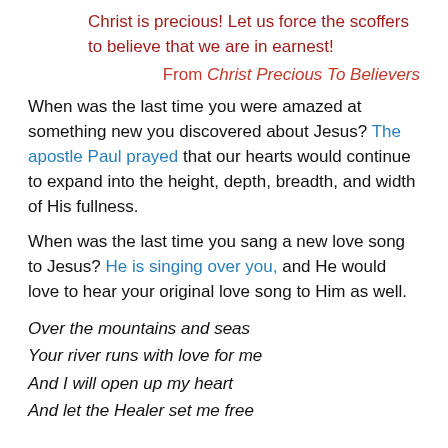Christ is precious! Let us force the scoffers to believe that we are in earnest!
From Christ Precious To Believers
When was the last time you were amazed at something new you discovered about Jesus? The apostle Paul prayed that our hearts would continue to expand into the height, depth, breadth, and width of His fullness.
When was the last time you sang a new love song to Jesus? He is singing over you, and He would love to hear your original love song to Him as well.
Over the mountains and seas
Your river runs with love for me
And I will open up my heart
And let the Healer set me free